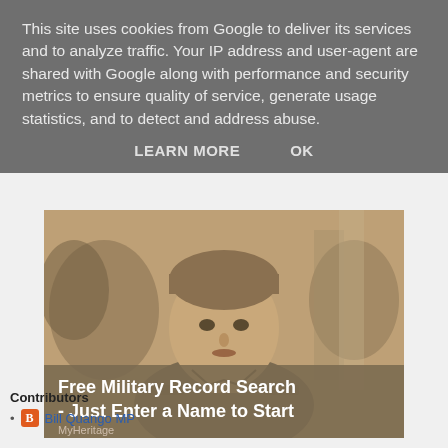This site uses cookies from Google to deliver its services and to analyze traffic. Your IP address and user-agent are shared with Google along with performance and security metrics to ensure quality of service, generate usage statistics, and to detect and address abuse.
LEARN MORE   OK
[Figure (photo): Advertisement showing a vintage sepia-toned photo of a young man in military uniform, with text overlay reading 'Free Military Record Search - Just Enter a Name to Start' and 'MyHeritage' branding at bottom]
Contributors
Bill Quango MP